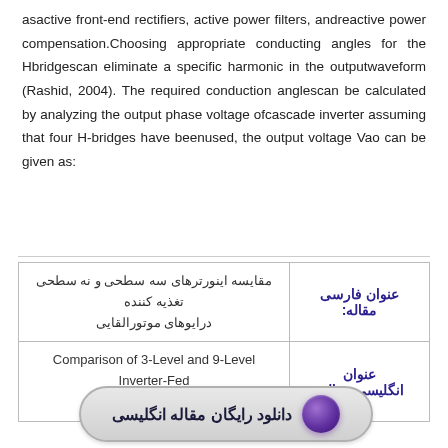asactive front-end rectifiers, active power filters, andreactive power compensation.Choosing appropriate conducting angles for the Hbridgescan eliminate a specific harmonic in the outputwaveform (Rashid, 2004). The required conduction anglescan be calculated by analyzing the output phase voltage ofcascade inverter assuming that four H-bridges have beenused, the output voltage Vao can be given as:
| عنوان فارسی مقاله: |  |
| --- | --- |
| عنوان فارسی مقاله: | مقایسه اینورترهای سه سطحی و نه سطحی تغذیه کننده درایوهای موتورالقایی |
| عنوان انگلیسی مقاله: | Comparison of 3-Level and 9-Level Inverter-Fed Induction Motor Drives |
[Figure (other): Download button with purple circle icon and Persian text 'دانلود رایگان مقاله انگلیسی']